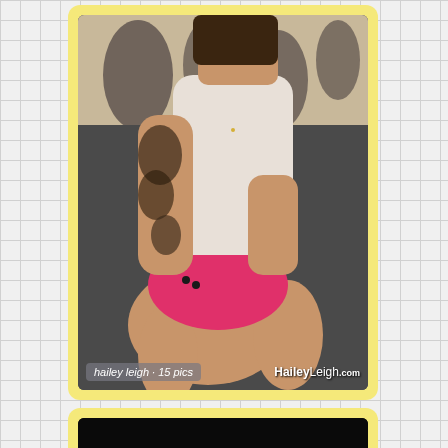[Figure (photo): A young woman with a full arm tattoo sleeve, wearing a white top and pink shorts, sitting cross-legged on a dark carpet with a zebra-print rug background. Overlaid text: 'hailey leigh · 15 pics' on the left and 'HaileyLeigh.com' on the right.]
[Figure (photo): Partially visible photo card at the bottom, showing mostly black/dark content.]